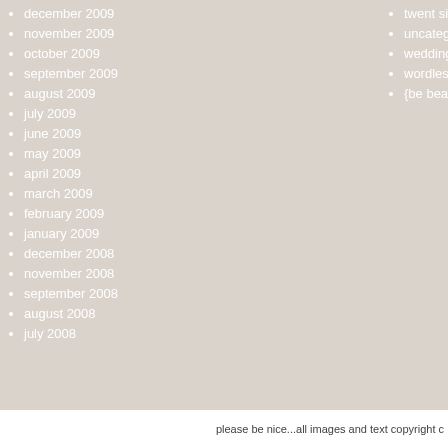december 2009
november 2009
october 2009
september 2009
august 2009
july 2009
june 2009
may 2009
april 2009
march 2009
february 2009
january 2009
december 2008
november 2008
september 2008
august 2008
july 2008
twent six on fr...
uncategorized
weddings
wordless wedn...
{be beautiful}
please be nice...all images and text copyright c